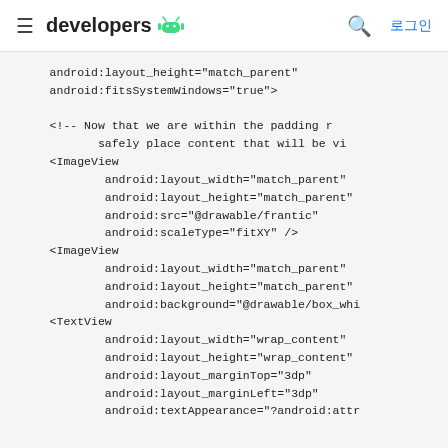≡ developers 🤖  🔍 로그인
android:layout_height="match_parent"
    android:fitsSystemWindows="true">

    <!-- Now that we are within the padding r
           safely place content that will be vi
    <ImageView
            android:layout_width="match_parent"
            android:layout_height="match_parent"
            android:src="@drawable/frantic"
            android:scaleType="fitXY" />
    <ImageView
            android:layout_width="match_parent"
            android:layout_height="match_parent"
            android:background="@drawable/box_whi
    <TextView
            android:layout_width="wrap_content"
            android:layout_height="wrap_content"
            android:layout_marginTop="3dp"
            android:layout_marginLeft="3dp"
            android:textAppearance="?android:attr